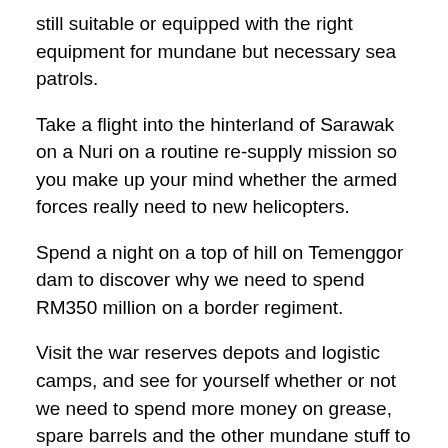still suitable or equipped with the right equipment for mundane but necessary sea patrols.
Take a flight into the hinterland of Sarawak on a Nuri on a routine re-supply mission so you make up your mind whether the armed forces really need to new helicopters.
Spend a night on a top of hill on Temenggor dam to discover why we need to spend RM350 million on a border regiment.
Visit the war reserves depots and logistic camps, and see for yourself whether or not we need to spend more money on grease, spare barrels and the other mundane stuff to keep our war machine running and not just shiny new jets or ships.
Find out whether the things that were procured during your time in Kementah almost fifteen years ago had really added new dimension or capabilities to the armed forces or not. Get to the bottom to the ill-fated Steyr project so we all can learn from the experience.